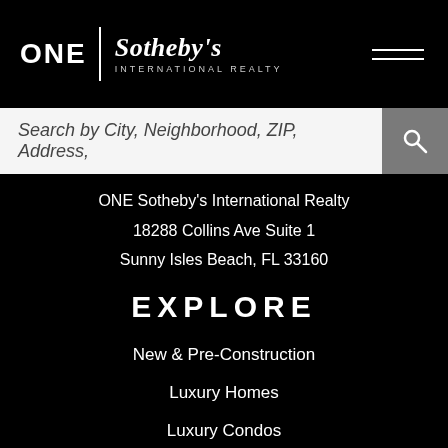ONE | Sotheby's INTERNATIONAL REALTY
Search by City, Neighborhood, ZIP, Address,
ONE Sotheby's International Realty
18288 Collins Ave Suite 1
Sunny Isles Beach, FL 33160
EXPLORE
New & Pre-Construction
Luxury Homes
Luxury Condos
Advanced Search